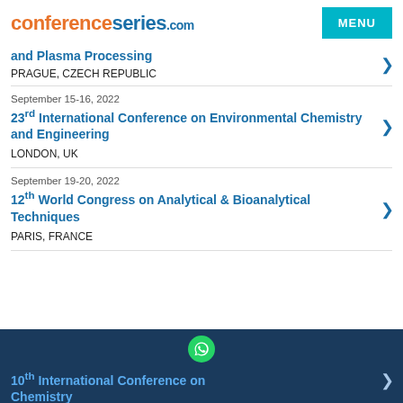conferenceseries.com MENU
and Plasma Processing
PRAGUE, CZECH REPUBLIC
September 15-16, 2022
23rd International Conference on Environmental Chemistry and Engineering
LONDON, UK
September 19-20, 2022
12th World Congress on Analytical & Bioanalytical Techniques
PARIS, FRANCE
10th International Conference on Chemistry